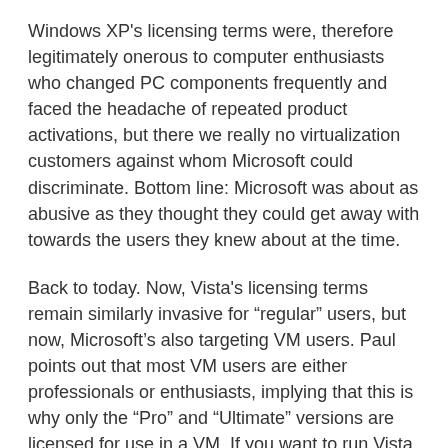Windows XP's licensing terms were, therefore legitimately onerous to computer enthusiasts who changed PC components frequently and faced the headache of repeated product activations, but there we really no virtualization customers against whom Microsoft could discriminate. Bottom line: Microsoft was about as abusive as they thought they could get away with towards the users they knew about at the time.
Back to today. Now, Vista's licensing terms remain similarly invasive for "regular" users, but now, Microsoft's also targeting VM users. Paul points out that most VM users are either professionals or enthusiasts, implying that this is why only the "Pro" and "Ultimate" versions are licensed for use in a VM. If you want to run Vista Home Basic or Home Ultimate, you're out of luck. Can't go there.